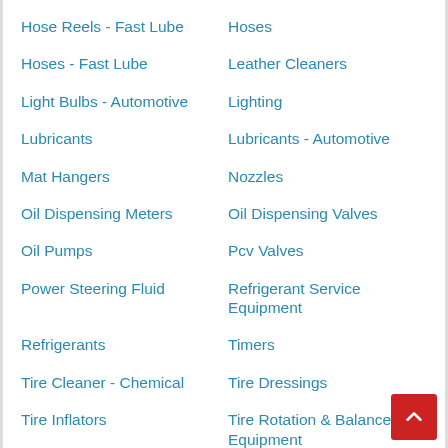Hose Reels - Fast Lube
Hoses
Hoses - Fast Lube
Leather Cleaners
Light Bulbs - Automotive
Lighting
Lubricants
Lubricants - Automotive
Mat Hangers
Nozzles
Oil Dispensing Meters
Oil Dispensing Valves
Oil Pumps
Pcv Valves
Power Steering Fluid
Refrigerant Service Equipment
Refrigerants
Timers
Tire Cleaner - Chemical
Tire Dressings
Tire Inflators
Tire Rotation & Balance Equipment
Towels
Transmission Fluid Exchange Machines